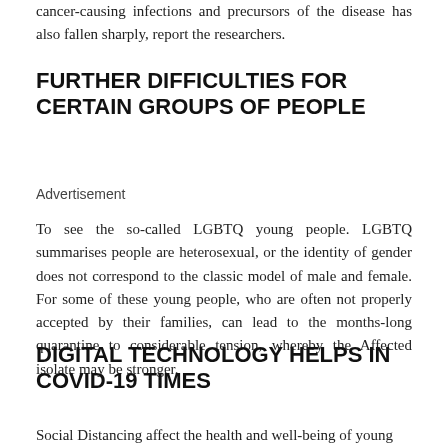cancer-causing infections and precursors of the disease has also fallen sharply, report the researchers.
FURTHER DIFFICULTIES FOR CERTAIN GROUPS OF PEOPLE
Advertisement
To see the so-called LGBTQ young people. LGBTQ summarises people are heterosexual, or the identity of gender does not correspond to the classic model of male and female. For some of these young people, who are often not properly accepted by their families, can lead to the months-long quarantine to considerable tension, whereby the Affected isolate may be stronger.
DIGITAL TECHNOLOGY HELPS IN COVID-19 TIMES
Social Distancing affect the health and well-being of young